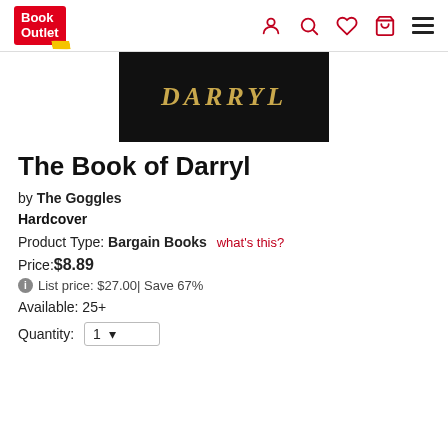Book Outlet — navigation header with account, search, wishlist, cart, and menu icons
[Figure (photo): Partial view of book cover showing 'DARRYL' in gold gothic letters on a black textured background]
The Book of Darryl
by The Goggles
Hardcover
Product Type: Bargain Books  what's this?
Price: $8.89
List price: $27.00 | Save 67%
Available: 25+
Quantity:  1